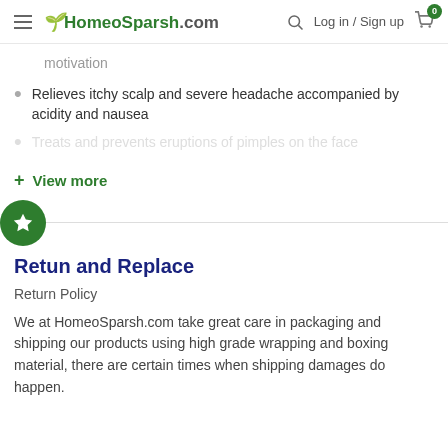HomeoSparsh.com  Log in / Sign up  0
motivation
Relieves itchy scalp and severe headache accompanied by acidity and nausea
Treats and prevents eruptions of pimples on the face
+ View more
Retun and Replace
Return Policy
We at HomeoSparsh.com take great care in packaging and shipping our products using high grade wrapping and boxing material, there are certain times when shipping damages do happen.